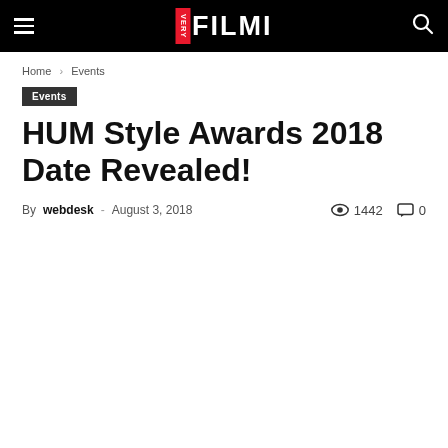VERY FILMI — navigation header with hamburger menu and search icon
Home › Events
Events
HUM Style Awards 2018 Date Revealed!
By webdesk - August 3, 2018   1442   0